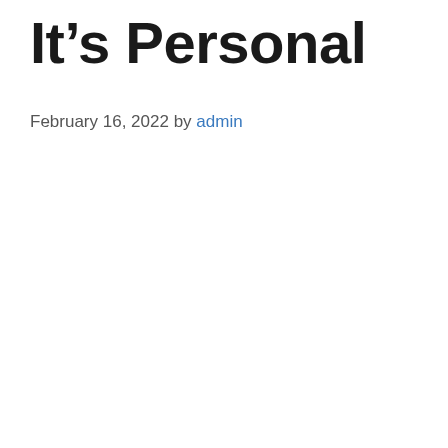It’s Personal
February 16, 2022 by admin